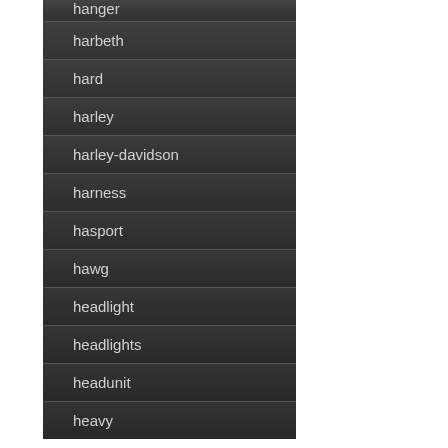hanger
harbeth
hard
harley
harley-davidson
harness
hasport
hawg
headlight
headlights
headunit
heavy